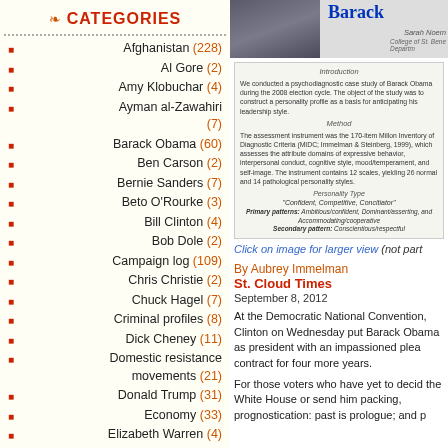CATEGORIES
Afghanistan (228)
Al Gore (2)
Amy Klobuchar (4)
Ayman al-Zawahiri (7)
Barack Obama (60)
Ben Carson (2)
Bernie Sanders (7)
Beto O'Rourke (3)
Bill Clinton (4)
Bob Dole (2)
Campaign log (109)
Chris Christie (2)
Chuck Hagel (7)
Criminal profiles (8)
Dick Cheney (11)
Domestic resistance movements (21)
Donald Trump (31)
Economy (33)
Elizabeth Warren (4)
Environment (24)
George H. W. Bush (1)
[Figure (screenshot): Article preview image showing Barack Obama psychodiagnostic study with photo and text about Introduction, Method, and Personality Type]
Click on image for larger view (not part
By Aubrey Immelman
St. Cloud Times
September 8, 2012
At the Democratic National Convention, Clinton on Wednesday put Barack Obama as president with an impassioned plea contract for four more years.
For those voters who have yet to decide the White House or send him packing, prognostication: past is prologue; and p